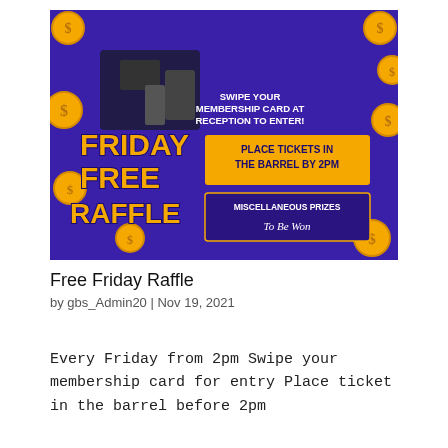[Figure (illustration): Friday Free Raffle promotional banner with purple background, gold coins, text 'FRIDAY FREE RAFFLE', 'SWIPE YOUR MEMBERSHIP CARD AT RECEPTION TO ENTER!', 'PLACE TICKETS IN THE BARREL BY 2PM', 'MISCELLANEOUS PRIZES To Be Won', and images of appliances/tools.]
Free Friday Raffle
by gbs_Admin20 | Nov 19, 2021
Every Friday from 2pm Swipe your membership card for entry Place ticket in the barrel before 2pm